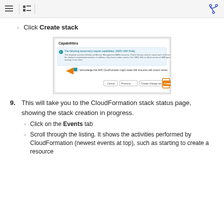Navigation header with hamburger menu, list icon, and git branch icon
Click Create stack
[Figure (screenshot): AWS CloudFormation Capabilities dialog showing a checkbox 'I acknowledge that AWS CloudFormation might create IAM resources with custom names' and buttons: Cancel, Previous, Create change set, Create stack (highlighted in orange)]
9. This will take you to the CloudFormation stack status page, showing the stack creation in progress.
Click on the Events tab
Scroll through the listing. It shows the activities performed by CloudFormation (newest events at top), such as starting to create a resource